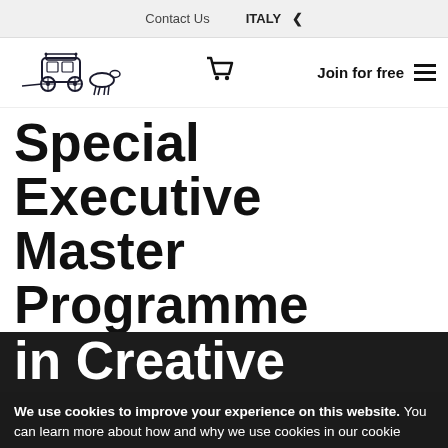Contact Us   ITALY
[Figure (logo): Horse-drawn carriage logo (black illustrated style)]
Join for free
Special Executive Master Programme in Creative
We use cookies to improve your experience on this website. You can learn more about how and why we use cookies in our cookie policy. By using this website, you agree to the use of cookies.
Accept and Close ×
Your browser settings do not allow cross-site tracking for advertising. Click on this page to allow AdRoll to use cross-site tracking to tailor ads to you. Learn more or opt out of this AdRoll tracking by clicking here. This message only appears once.